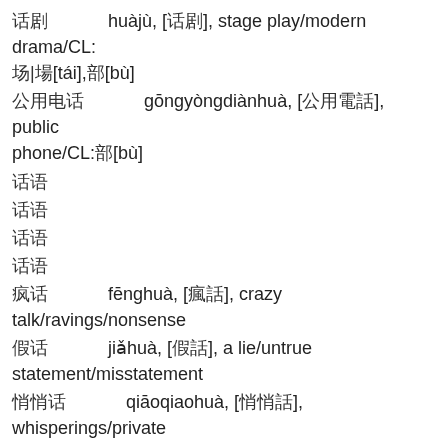话剧   huàjù, [话剧], stage play/modern drama/CL:场|場[tái],部[bù]
公用电话   gōngyòngdiànhuà, [公用電話], public phone/CL:部[bù]
话语
话语
话语
话语
疯话   fēnghuà, [瘋話], crazy talk/ravings/nonsense
假话   jiǎhuà, [假話], a lie/untrue statement/misstatement
悄悄话   qiāoqiaohuà, [悄悄話], whisperings/private words/confidences/sweet nothings
不像话   bùxiànghuà, [不像話], unreasonable/shocking/outrageous
像话   xiànghuà, [像話], proper
话语